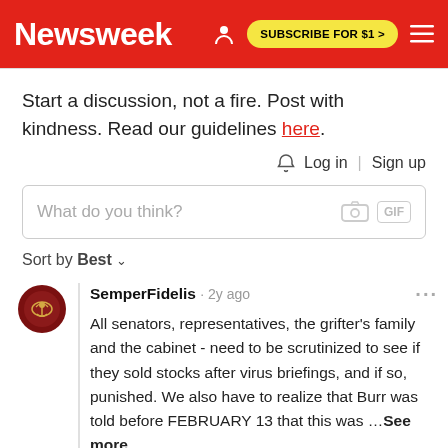Newsweek | SUBSCRIBE FOR $1 >
Start a discussion, not a fire. Post with kindness. Read our guidelines here.
Log in | Sign up
What do you think?
Sort by Best
SemperFidelis · 2y ago
All senators, representatives, the grifter's family and the cabinet - need to be scrutinized to see if they sold stocks after virus briefings, and if so, punished. We also have to realize that Burr was told before FEBRUARY 13 that this was … See more
Reply · 7 ·